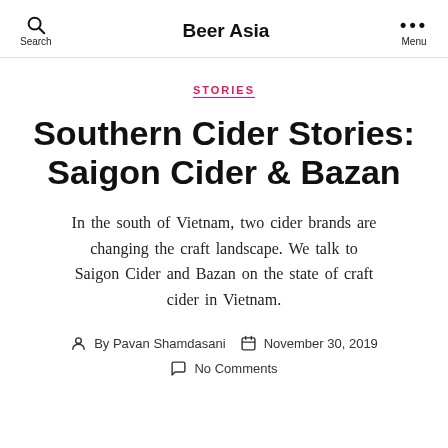Beer Asia
STORIES
Southern Cider Stories: Saigon Cider & Bazan
In the south of Vietnam, two cider brands are changing the craft landscape. We talk to Saigon Cider and Bazan on the state of craft cider in Vietnam.
By Pavan Shamdasani   November 30, 2019   No Comments